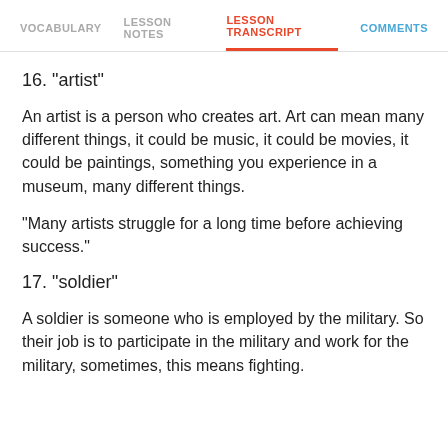VOCABULARY   LESSON NOTES   LESSON TRANSCRIPT   COMMENTS
16. "artist"
An artist is a person who creates art. Art can mean many different things, it could be music, it could be movies, it could be paintings, something you experience in a museum, many different things.
"Many artists struggle for a long time before achieving success."
17. "soldier"
A soldier is someone who is employed by the military. So their job is to participate in the military and work for the military, sometimes, this means fighting.